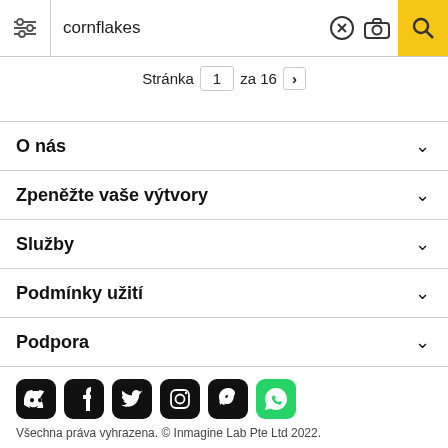cornflakes
Stránka 1 za 16 >
O nás
Zpeněžte vaše výtvory
Služby
Podmínky užití
Podpora
[Figure (other): Social media icons: Discord, Facebook, Twitter, Instagram, Pinterest, WhatsApp]
Všechna práva vyhrazena. © Inmagine Lab Pte Ltd 2022.